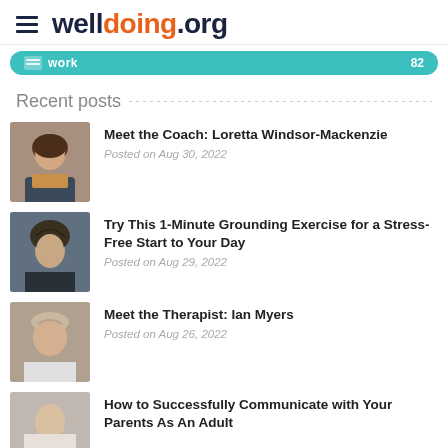welldoing.org
work  82
Recent posts
[Figure (photo): Headshot of a woman with brown hair wearing a yellow scarf, smiling]
Meet the Coach: Loretta Windsor-Mackenzie
Posted on Aug 30, 2022
[Figure (photo): Woman with eyes closed, looking relaxed, outdoors]
Try This 1-Minute Grounding Exercise for a Stress-Free Start to Your Day
Posted on Aug 29, 2022
[Figure (photo): Older man smiling, balding, wearing a light shirt]
Meet the Therapist: Ian Myers
Posted on Aug 26, 2022
[Figure (photo): Partial view of a person, cropped at bottom]
How to Successfully Communicate with Your Parents As An Adult